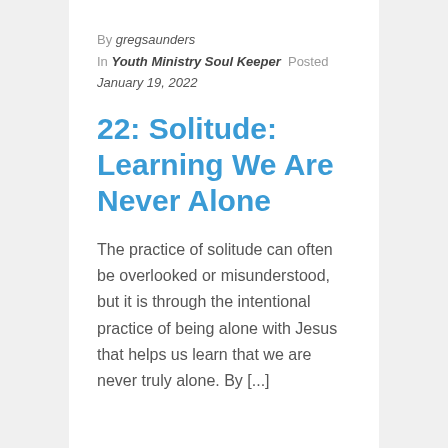By gregsaunders
In Youth Ministry Soul Keeper  Posted January 19, 2022
22: Solitude: Learning We Are Never Alone
The practice of solitude can often be overlooked or misunderstood, but it is through the intentional practice of being alone with Jesus that helps us learn that we are never truly alone. By [...]